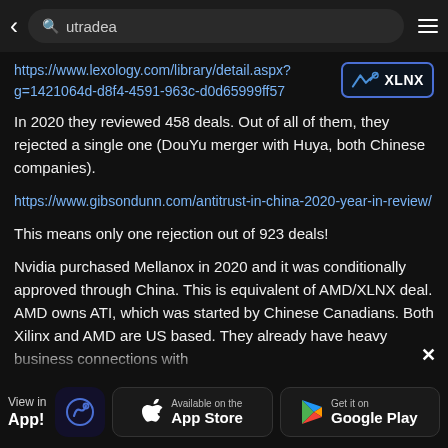utradea
https://www.lexology.com/library/detail.aspx?g=1421064d-d8f4-4591-963c-d0d65999ff57
In 2020 they reviewed 458 deals. Out of all of them, they rejected a single one (DouYu merger with Huya, both Chinese companies).
https://www.gibsondunn.com/antitrust-in-china-2020-year-in-review/
This means only one rejection out of 923 deals!
Nvidia purchased Mellanox in 2020 and it was conditionally approved through China. This is equivalent of AMD/XLNX deal. AMD owns ATI, which was started by Chinese Canadians. Both Xilinx and AMD are US based. They already have heavy business connections with